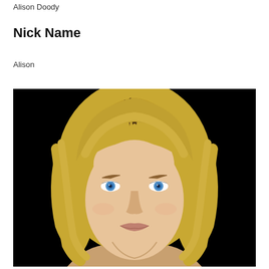Alison Doody
Nick Name
Alison
[Figure (photo): Professional headshot of a blonde woman with blue eyes against a black background]